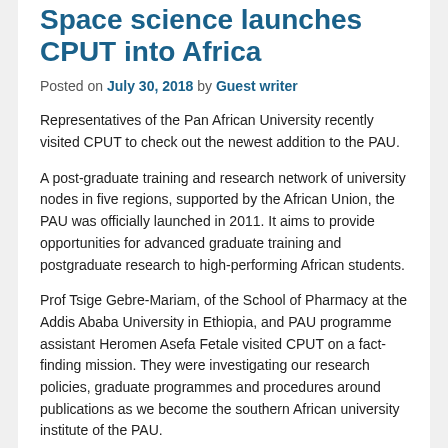Space science launches CPUT into Africa
Posted on July 30, 2018 by Guest writer
Representatives of the Pan African University recently visited CPUT to check out the newest addition to the PAU.
A post-graduate training and research network of university nodes in five regions, supported by the African Union, the PAU was officially launched in 2011. It aims to provide opportunities for advanced graduate training and postgraduate research to high-performing African students.
Prof Tsige Gebre-Mariam, of the School of Pharmacy at the Addis Ababa University in Ethiopia, and PAU programme assistant Heromen Asefa Fetale visited CPUT on a fact-finding mission. They were investigating our research policies, graduate programmes and procedures around publications as we become the southern African university institute of the PAU.